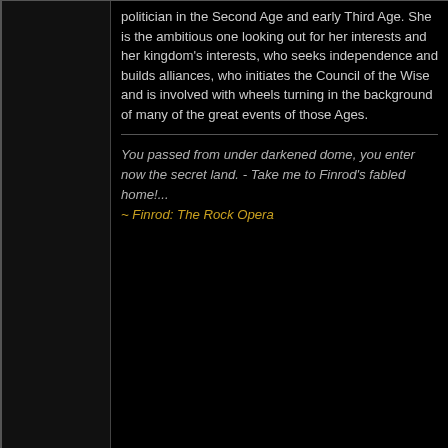politician in the Second Age and early Third Age. She is the ambitious one looking out for her interests and her kingdom's interests, who seeks independence and builds alliances, who initiates the Council of the Wise and is involved with wheels turning in the background of many of the great events of those Ages.
You passed from under darkened dome, you enter now the secret land.  - Take me to Finrod's fabled home!... ~ Finrod: The Rock Opera
02-20-2022, 04:32 PM
#66
mhagain
Wight
[Figure (illustration): Avatar image of a figure/character]
The single strongest argument against a wise 2nd Age Galadriel is how she's handled at the end of the 1st Age. That's a story that was developed in multiple variants, but whether she